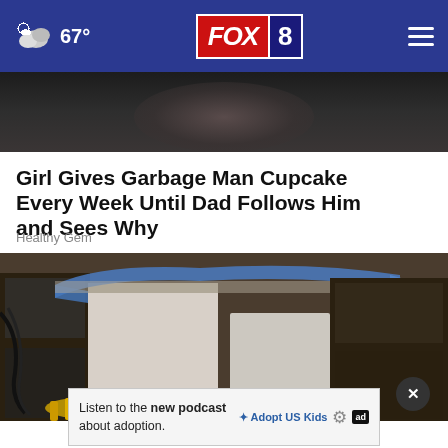67° FOX 8
[Figure (photo): Dark background photo showing partial face/head silhouette at top of article]
Girl Gives Garbage Man Cupcake Every Week Until Dad Follows Him and Sees Why
Healthy Gem
[Figure (photo): Photo of a kitchen renovation scene with cabinet frames, blue painter's tape, and tools on the floor]
Listen to the new podcast about adoption.